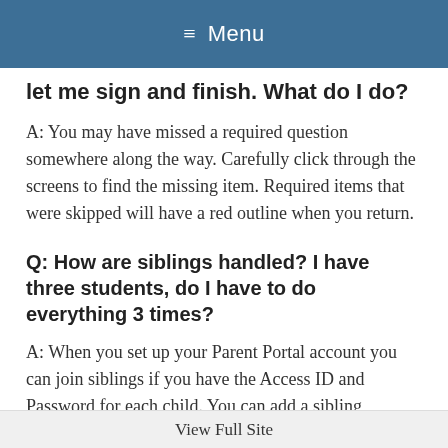Menu
let me sign and finish. What do I do?
A: You may have missed a required question somewhere along the way. Carefully click through the screens to find the missing item. Required items that were skipped will have a red outline when you return.
Q: How are siblings handled? I have three students, do I have to do everything 3 times?
A: When you set up your Parent Portal account you can join siblings if you have the Access ID and Password for each child. You can add a sibling
View Full Site